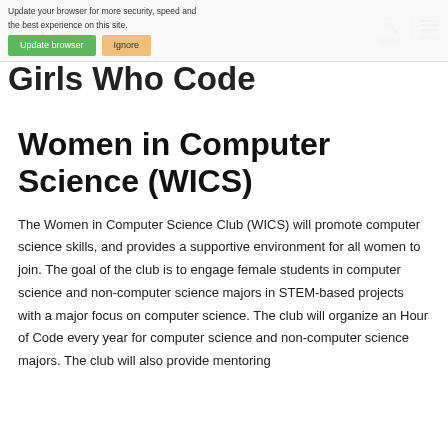Fairleigh Dickinson University — navigation header with logo, Search, and Menu
Update your browser for more security, speed and the best experience on this site.
Girls Who Code
Women in Computer Science (WICS)
The Women in Computer Science Club (WICS) will promote computer science skills, and provides a supportive environment for all women to join. The goal of the club is to engage female students in computer science and non-computer science majors in STEM-based projects with a major focus on computer science. The club will organize an Hour of Code every year for computer science and non-computer science majors. The club will also provide mentoring